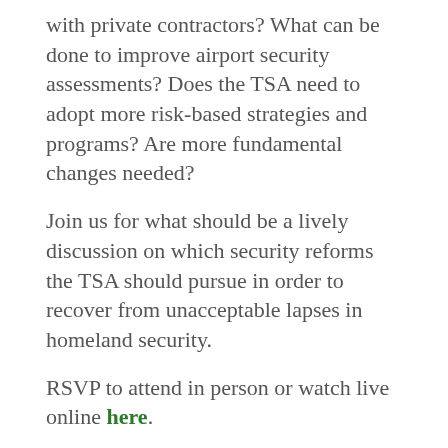with private contractors? What can be done to improve airport security assessments? Does the TSA need to adopt more risk-based strategies and programs? Are more fundamental changes needed?
Join us for what should be a lively discussion on which security reforms the TSA should pursue in order to recover from unacceptable lapses in homeland security.
RSVP to attend in person or watch live online here.
Subcommittee Hearing: Reviewing the Administration's FY 2016 Request for Europe and Eurasia
Date: June 16, 2:00pm
Location: U.S. House Committee on Foreign Affairs, Subcommittee on Europe, Eurasia, and Emerging Threats, 2172 Rayburn House Office Building,